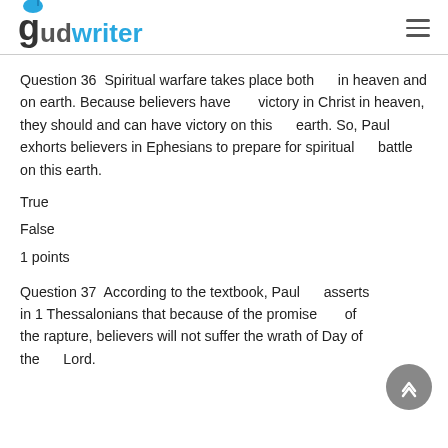gudwriter
Question 36  Spiritual warfare takes place both     in heaven and on earth. Because believers have       victory in Christ in heaven, they should and can have victory on this     earth. So, Paul exhorts believers in Ephesians to prepare for spiritual      battle on this earth.
True
False
1 points
Question 37  According to the textbook, Paul     asserts in 1 Thessalonians that because of the promise       of the rapture, believers will not suffer the wrath of Day of the     Lord.